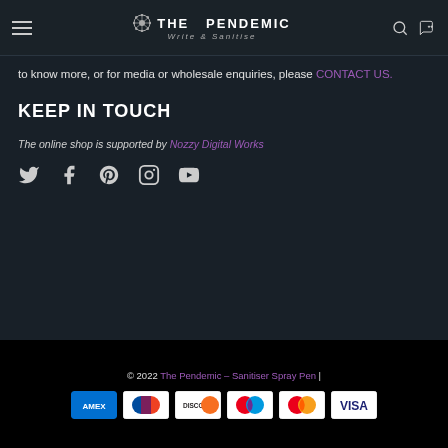THE PENDEMIC | Write & Sanitise
to know more, or for media or wholesale enquiries, please CONTACT US.
KEEP IN TOUCH
The online shop is supported by Nozzy Digital Works
[Figure (infographic): Social media icons: Twitter, Facebook, Pinterest, Instagram, YouTube]
© 2022 The Pendemic - Sanitiser Spray Pen | [Payment icons: Amex, Diners Club, Discover, Mastercard (red/yellow), Mastercard, Visa]